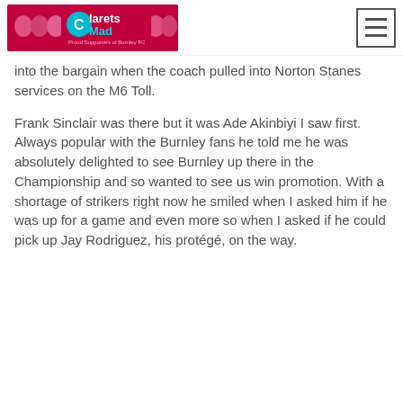ClaretsMad
into the bargain when the coach pulled into Norton Stanes services on the M6 Toll.
Frank Sinclair was there but it was Ade Akinbiyi I saw first. Always popular with the Burnley fans he told me he was absolutely delighted to see Burnley up there in the Championship and so wanted to see us win promotion. With a shortage of strikers right now he smiled when I asked him if he was up for a game and even more so when I asked if he could pick up Jay Rodriguez, his protégé, on the way.